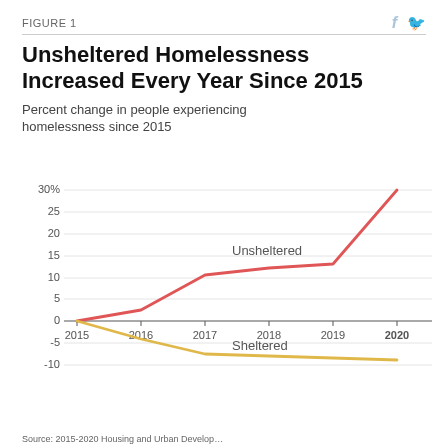FIGURE 1
Unsheltered Homelessness Increased Every Year Since 2015
Percent change in people experiencing homelessness since 2015
[Figure (line-chart): Unsheltered Homelessness Increased Every Year Since 2015]
Source: 2015-2020 Housing and Urban Develop...